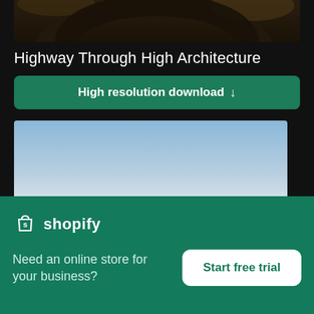[Figure (photo): Partial photo strip at top showing a dark circular shape with foliage, cropped]
Highway Through High Architecture
High resolution download ↓
[Figure (photo): Landscape photo of a sky at dusk/sunset with soft blue and pink/orange gradient clouds]
×
[Figure (logo): Shopify logo: shopping bag icon with 's' and the word shopify in white]
Need an online store for your business?
Start free trial